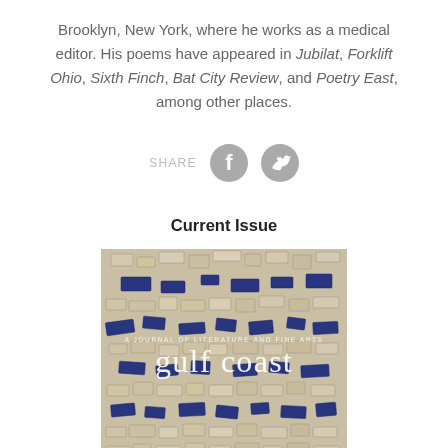Brooklyn, New York, where he works as a medical editor. His poems have appeared in Jubilat, Forklift Ohio, Sixth Finch, Bat City Review, and Poetry East, among other places.
[Figure (other): Share row with Facebook and Twitter icons and SHARE label]
Current Issue
[Figure (photo): Gulf Coast literary journal cover showing a mosaic artwork with blue and beige/cream tile fragments, with 'gulf coast' text overlay and subtitle 'A Journal of Literature and Fine Arts']